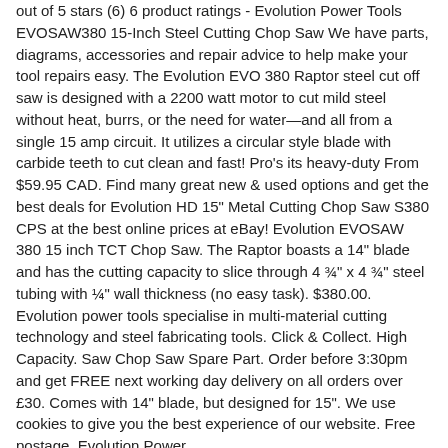out of 5 stars (6) 6 product ratings - Evolution Power Tools EVOSAW380 15-Inch Steel Cutting Chop Saw We have parts, diagrams, accessories and repair advice to help make your tool repairs easy. The Evolution EVO 380 Raptor steel cut off saw is designed with a 2200 watt motor to cut mild steel without heat, burrs, or the need for water—and all from a single 15 amp circuit. It utilizes a circular style blade with carbide teeth to cut clean and fast! Pro's its heavy-duty From $59.95 CAD. Find many great new & used options and get the best deals for Evolution HD 15" Metal Cutting Chop Saw S380 CPS at the best online prices at eBay! Evolution EVOSAW 380 15 inch TCT Chop Saw. The Raptor boasts a 14" blade and has the cutting capacity to slice through 4 ¾" x 4 ¾" steel tubing with ¼" wall thickness (no easy task). $380.00. Evolution power tools specialise in multi-material cutting technology and steel fabricating tools. Click & Collect. High Capacity. Saw Chop Saw Spare Part. Order before 3:30pm and get FREE next working day delivery on all orders over £30. Comes with 14" blade, but designed for 15". We use cookies to give you the best experience of our website. Free postage. Evolution Power